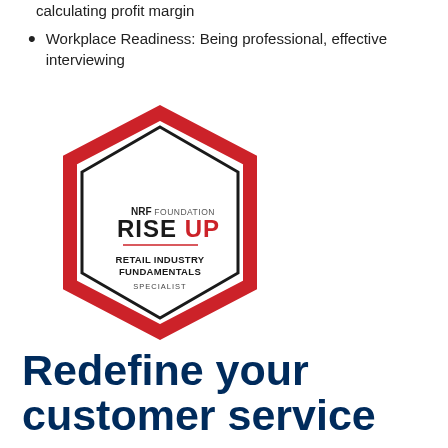calculating profit margin
Workplace Readiness: Being professional, effective interviewing
[Figure (logo): NRF Foundation RISE UP Retail Industry Fundamentals Specialist badge — a hexagonal logo with red outer border, black inner hexagon outline, and text inside reading 'NRF FOUNDATION RISE UP / RETAIL INDUSTRY FUNDAMENTALS / SPECIALIST']
Redefine your customer service